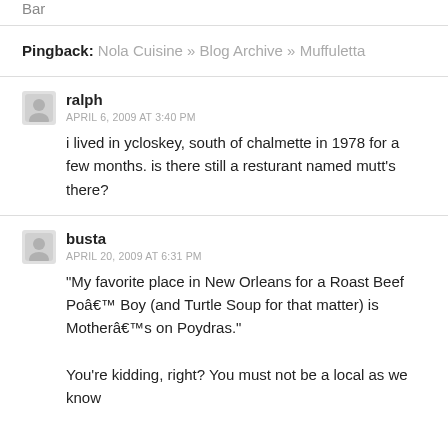Bar
Pingback: Nola Cuisine » Blog Archive » Muffuletta
ralph
APRIL 6, 2009 AT 3:40 PM
i lived in ycloskey, south of chalmette in 1978 for a few months. is there still a resturant named mutt's there?
busta
APRIL 20, 2009 AT 6:31 PM
“My favorite place in New Orleans for a Roast Beef Poâ€™ Boy (and Turtle Soup for that matter) is Motherâ€™s on Poydras.”

You're kidding, right? You must not be a local as we know